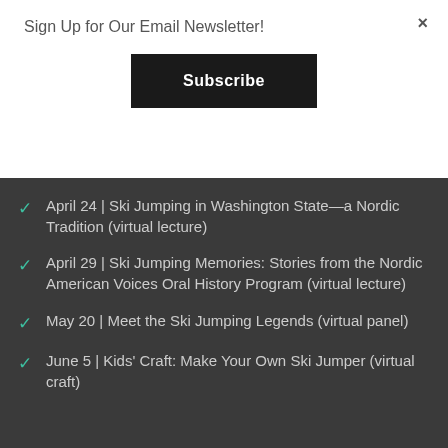Sign Up for Our Email Newsletter!
Subscribe
April 24 | Ski Jumping in Washington State—a Nordic Tradition (virtual lecture)
April 29 | Ski Jumping Memories: Stories from the Nordic American Voices Oral History Program (virtual lecture)
May 20 | Meet the Ski Jumping Legends (virtual panel)
June 5 | Kids' Craft: Make Your Own Ski Jumper (virtual craft)